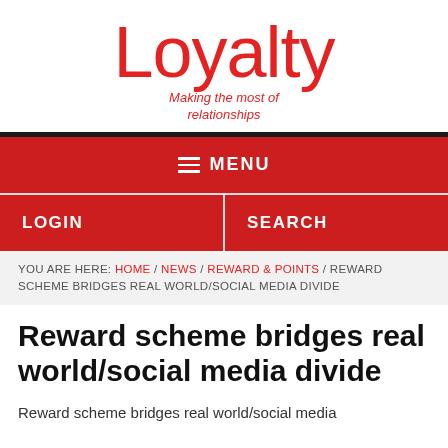Loyalty
Making the most of relationships
MENU
LOGIN / SEARCH
YOU ARE HERE: HOME / NEWS / REWARD & POINTS / REWARD SCHEME BRIDGES REAL WORLD/SOCIAL MEDIA DIVIDE
Reward scheme bridges real world/social media divide
Reward scheme bridges real world/social media